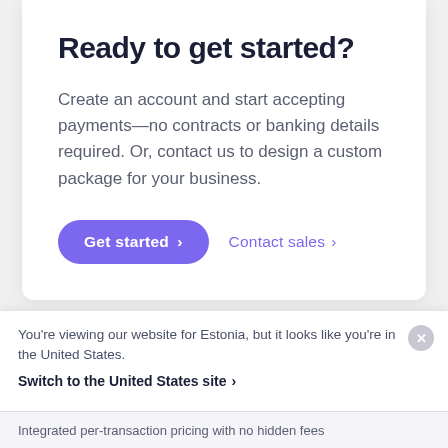Ready to get started?
Create an account and start accepting payments—no contracts or banking details required. Or, contact us to design a custom package for your business.
Get started › Contact sales ›
You're viewing our website for Estonia, but it looks like you're in the United States.
Switch to the United States site ›
Integrated per-transaction pricing with no hidden fees